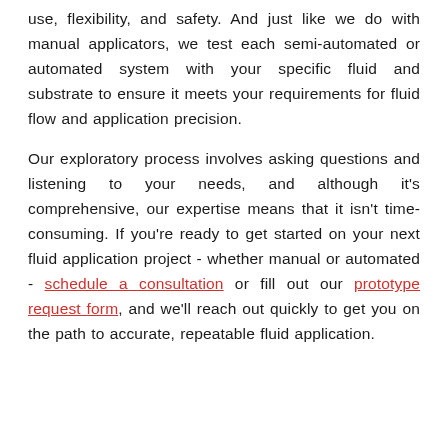use, flexibility, and safety. And just like we do with manual applicators, we test each semi-automated or automated system with your specific fluid and substrate to ensure it meets your requirements for fluid flow and application precision.
Our exploratory process involves asking questions and listening to your needs, and although it's comprehensive, our expertise means that it isn't time-consuming. If you're ready to get started on your next fluid application project – whether manual or automated – schedule a consultation or fill out our prototype request form, and we'll reach out quickly to get you on the path to accurate, repeatable fluid application.